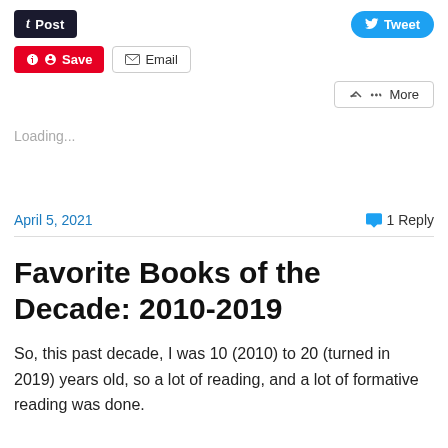[Figure (screenshot): Social sharing buttons: Post (Tumblr, dark), Tweet (Twitter, blue)]
[Figure (screenshot): Social sharing buttons: Save (Pinterest, red), Email (grey outline)]
[Figure (screenshot): More sharing button (grey outline)]
Loading...
April 5, 2021    💬 1 Reply
Favorite Books of the Decade: 2010-2019
So, this past decade, I was 10 (2010) to 20 (turned in 2019) years old, so a lot of reading, and a lot of formative reading was done.